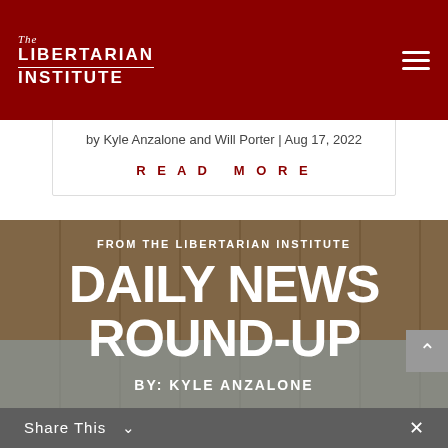The Libertarian Institute
by Kyle Anzalone and Will Porter | Aug 17, 2022
READ MORE
[Figure (photo): Daily News Round-Up banner image from The Libertarian Institute: large bold white text 'DAILY NEWS ROUND-UP' on a textured background, with 'FROM THE LIBERTARIAN INSTITUTE' above and 'BY: KYLE ANZALONE' below]
Share This ∨  ✕